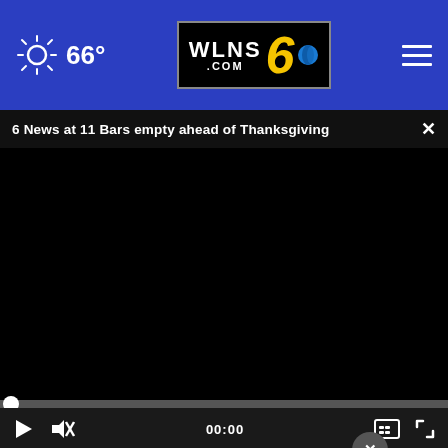66° WLNS 6 .COM
6 News at 11 Bars empty ahead of Thanksgiving ×
[Figure (screenshot): Black video player with progress bar and playback controls showing 00:00]
[Figure (logo): Auto-Owners Insurance advertisement banner with HACKER-KING-SHERRY, 2205 Abbot Rd | East Lansing]
Do you